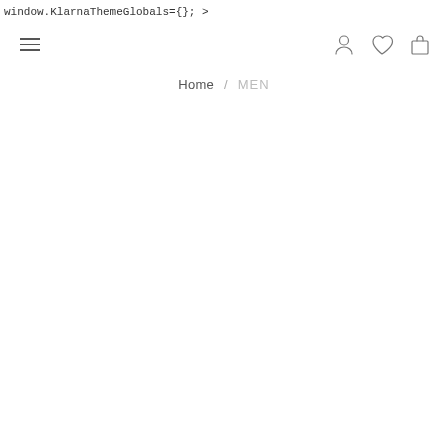window.KlarnaThemeGlobals={}; >
[Figure (screenshot): Navigation header bar with hamburger menu icon on left and user account, wishlist heart, and shopping bag icons on right]
Home / MEN